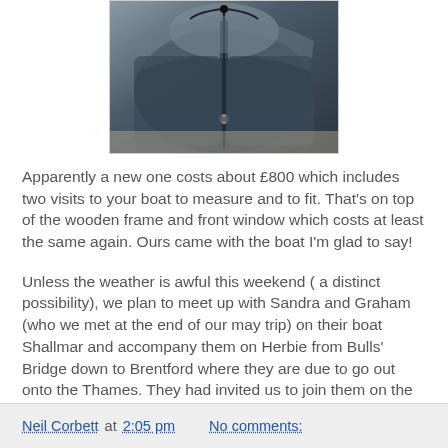[Figure (photo): Photo of a dark navy/grey boat cover or jacket laid flat on a light surface, showing zipper and drawstring details]
Apparently a new one costs about £800 which includes two visits to your boat to measure and to fit. That's on top of the wooden frame and front window which costs at least the same again. Ours came with the boat I'm glad to say!
Unless the weather is awful this weekend ( a distinct possibility), we plan to meet up with Sandra and Graham (who we met at the end of our may trip) on their boat Shallmar and accompany them on Herbie from Bulls' Bridge down to Brentford where they are due to go out onto the Thames. They had invited us to join them on the Thames too but I don't think we can fit it in at the moment. With all the recent storms the Thames might be running pretty full I would think.
Neil Corbett at 2:05 pm   No comments: